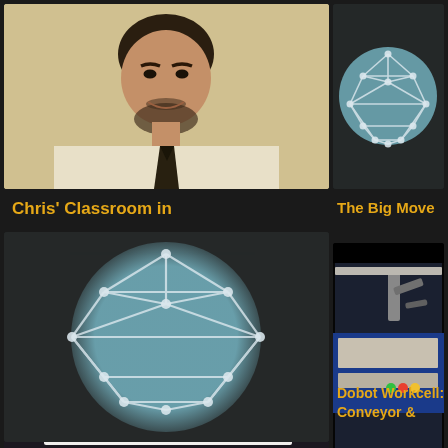[Figure (photo): Headshot of a man in a dress shirt and tie, smiling]
Chris' Classroom in
[Figure (illustration): Network/graph icon: white geometric polyhedron lines on a teal/light blue circle]
The Big Move
[Figure (photo): Industrial equipment with orange and blue wiring/cables]
Automated Switch
[Figure (photo): Dobot robotic arm workcell with conveyor belt setup]
Dobot Workcell: Conveyor &
[Figure (illustration): Large network/graph icon: white geometric polyhedron lines on a teal/light blue circle, blurred edges]